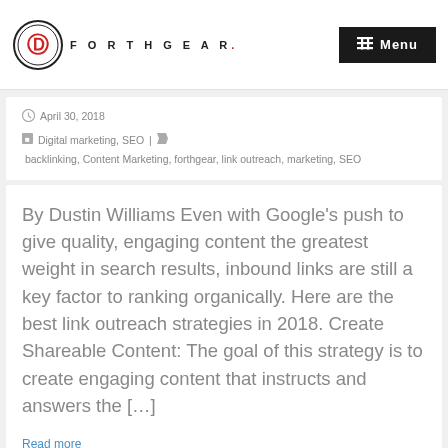FORTHGEAR — Menu
April 30, 2018
Digital marketing, SEO | backlinking, Content Marketing, forthgear, link outreach, marketing, SEO
By Dustin Williams Even with Google's push to give quality, engaging content the greatest weight in search results, inbound links are still a key factor to ranking organically. Here are the best link outreach strategies in 2018. Create Shareable Content: The goal of this strategy is to create engaging content that instructs and answers the […]
Read more